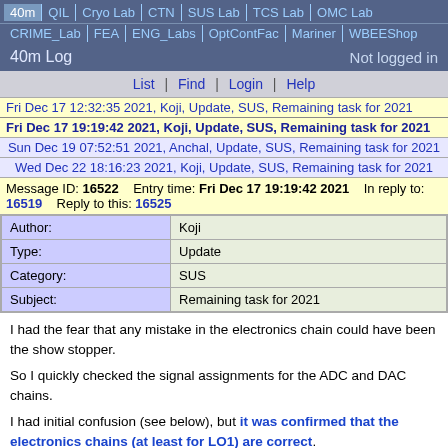40m | QIL | Cryo Lab | CTN | SUS Lab | TCS Lab | OMC Lab | CRIME_Lab | FEA | ENG_Labs | OptContFac | Mariner | WBEEShop
40m Log   Not logged in
List | Find | Login | Help
Fri Dec 17 12:32:35 2021, Koji, Update, SUS, Remaining task for 2021
Fri Dec 17 19:19:42 2021, Koji, Update, SUS, Remaining task for 2021
Sun Dec 19 07:52:51 2021, Anchal, Update, SUS, Remaining task for 2021
Wed Dec 22 18:16:23 2021, Koji, Update, SUS, Remaining task for 2021
Message ID: 16522   Entry time: Fri Dec 17 19:19:42 2021   In reply to: 16519   Reply to this: 16525
| Field | Value |
| --- | --- |
| Author: | Koji |
| Type: | Update |
| Category: | SUS |
| Subject: | Remaining task for 2021 |
I had the fear that any mistake in the electronics chain could have been the show stopper.

So I quickly checked the signal assignments for the ADC and DAC chains.

I had initial confusion (see below), but it was confirmed that the electronics chains (at least for LO1) are correct.

Note: One 70ft cable is left around the 1Y0 rack